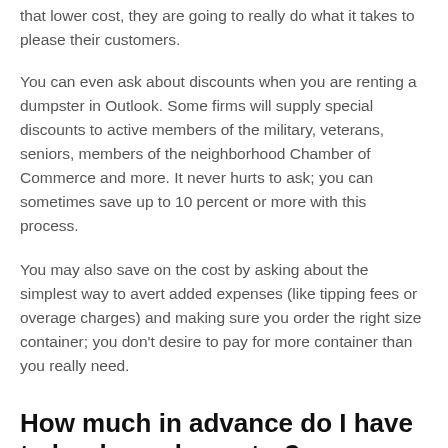that lower cost, they are going to really do what it takes to please their customers.
You can even ask about discounts when you are renting a dumpster in Outlook. Some firms will supply special discounts to active members of the military, veterans, seniors, members of the neighborhood Chamber of Commerce and more. It never hurts to ask; you can sometimes save up to 10 percent or more with this process.
You may also save on the cost by asking about the simplest way to avert added expenses (like tipping fees or overage charges) and making sure you order the right size container; you don't desire to pay for more container than you really need.
How much in advance do I have to book my dumpster?
As with any service, it is always a great plan to reserve your